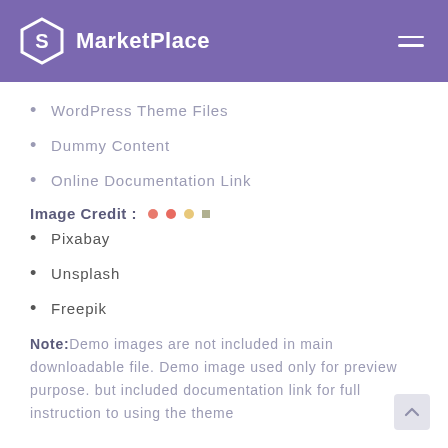MarketPlace
WordPress Theme Files
Dummy Content
Online Documentation Link
Image Credit :
Pixabay
Unsplash
Freepik
Note: Demo images are not included in main downloadable file. Demo image used only for preview purpose. but included documentation link for full instruction to using the theme